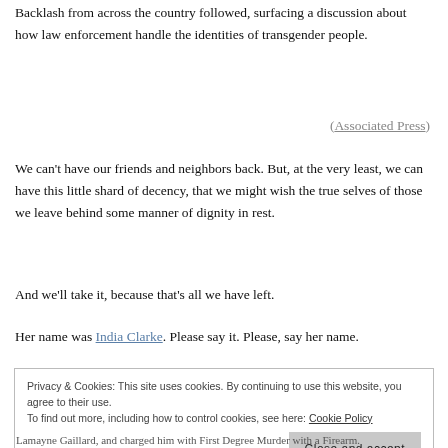Backlash from across the country followed, surfacing a discussion about how law enforcement handle the identities of transgender people.
(Associated Press)
We can’t have our friends and neighbors back. But, at the very least, we can have this little shard of decency, that we might wish the true selves of those we leave behind some manner of dignity in rest.
And we’ll take it, because that’s all we have left.
Her name was India Clarke. Please say it. Please, say her name.
Privacy & Cookies: This site uses cookies. By continuing to use this website, you agree to their use.
To find out more, including how to control cookies, see here: Cookie Policy
Close and accept
Lamayne Gaillard, and charged him with First Degree Murder with a Firearm.